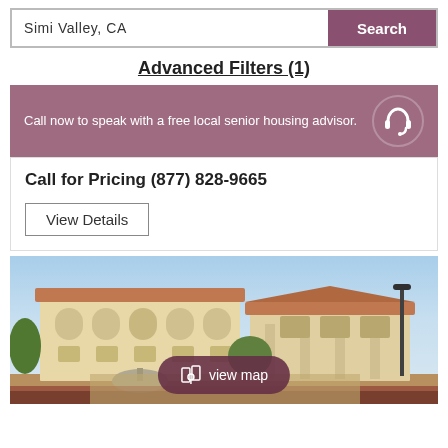Simi Valley, CA
Search
Advanced Filters (1)
Call now to speak with a free local senior housing advisor.
Call for Pricing (877) 828-9665
View Details
[Figure (photo): Exterior photo of a senior housing facility with Mediterranean-style architecture, featuring arched windows, red tile roof, beige stucco walls, a decorative fountain, and landscaping with trees and flowers. Blue sky in background.]
view map